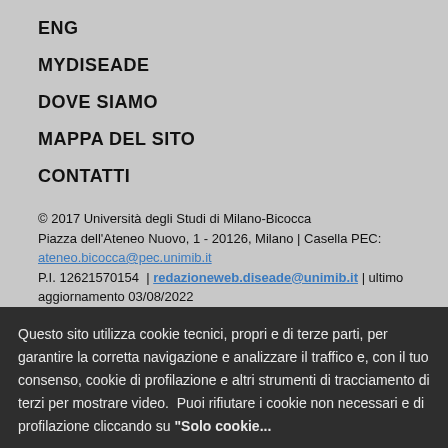ENG
MYDISEADE
DOVE SIAMO
MAPPA DEL SITO
CONTATTI
© 2017 Università degli Studi di Milano-Bicocca
Piazza dell'Ateneo Nuovo, 1 - 20126, Milano | Casella PEC:
ateneo.bicocca@pec.unimib.it
P.I. 12621570154  |  redazioneweb.diseade@unimib.it | ultimo aggiornamento 03/08/2022
Questo sito utilizza cookie tecnici, propri e di terze parti, per garantire la corretta navigazione e analizzare il traffico e, con il tuo consenso, cookie di profilazione e altri strumenti di tracciamento di terzi per mostrare video. Puoi rifiutare i cookie non necessari e di profilazione cliccando su "Solo cookie..."